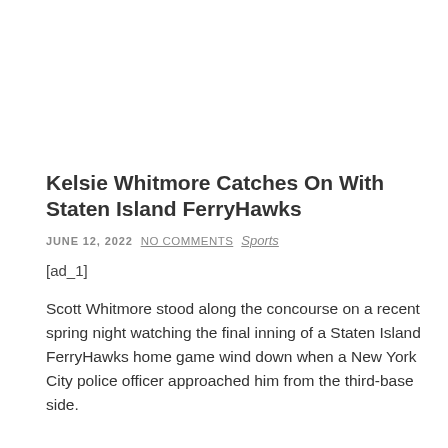Kelsie Whitmore Catches On With Staten Island FerryHawks
JUNE 12, 2022  NO COMMENTS  Sports
[ad_1]
Scott Whitmore stood along the concourse on a recent spring night watching the final inning of a Staten Island FerryHawks home game wind down when a New York City police officer approached him from the third-base side.